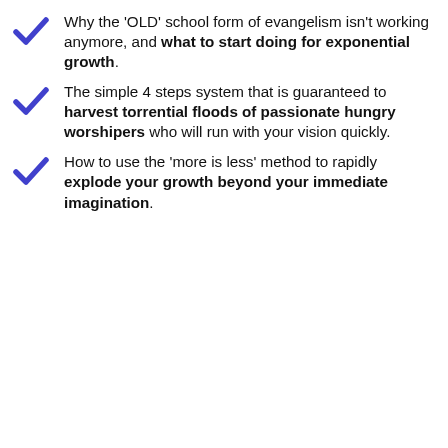Why the 'OLD' school form of evangelism isn't working anymore, and what to start doing for exponential growth.
The simple 4 steps system that is guaranteed to harvest torrential floods of passionate hungry worshipers who will run with your vision quickly.
How to use the 'more is less' method to rapidly explode your growth beyond your immediate imagination.